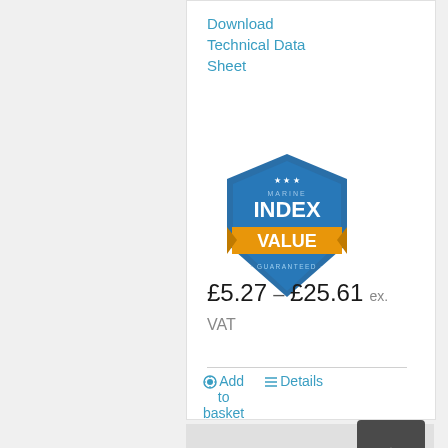Download Technical Data Sheet
[Figure (logo): Index Marine Value Guaranteed badge/shield logo in blue and orange]
£5.27 – £25.61 ex. VAT
Add to basket   Details